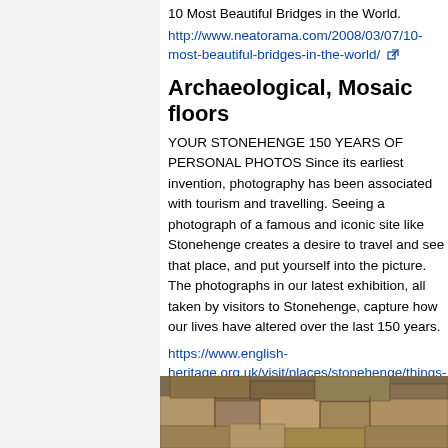10 Most Beautiful Bridges in the World.
http://www.neatorama.com/2008/03/07/10-most-beautiful-bridges-in-the-world/
Archaeological, Mosaic floors
YOUR STONEHENGE 150 YEARS OF PERSONAL PHOTOS Since its earliest invention, photography has been associated with tourism and travelling. Seeing a photograph of a famous and iconic site like Stonehenge creates a desire to travel and see that place, and put yourself into the picture. The photographs in our latest exhibition, all taken by visitors to Stonehenge, capture how our lives have altered over the last 150 years.
https://www.english-heritage.org.uk/visit/places/stonehenge/things-to-do/exhibitions/yourstonehenge/
https://en.m.wikipedia.org/wiki/Mosaics_of_Delos
[Figure (photo): Photo of ancient stone ruins or archaeological site showing large stone blocks]